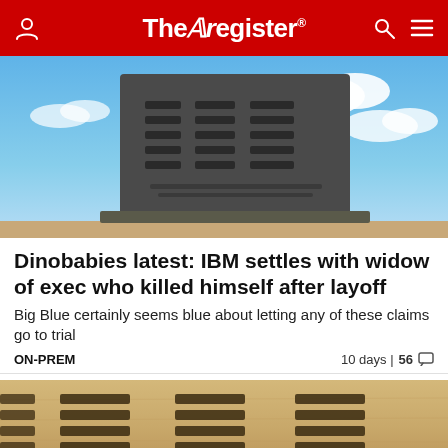The Register
[Figure (photo): IBM corporate sign/logo stone monument against blue sky with clouds]
Dinobabies latest: IBM settles with widow of exec who killed himself after layoff
Big Blue certainly seems blue about letting any of these claims go to trial
ON-PREM   10 days | 56 comments
[Figure (photo): IBM logo on sandy/tan textured background]